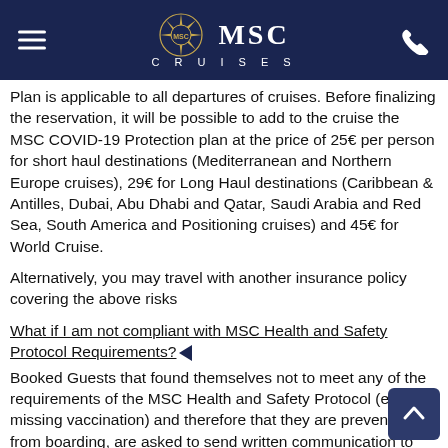MSC CRUISES
Plan is applicable to all departures of cruises. Before finalizing the reservation, it will be possible to add to the cruise the MSC COVID-19 Protection plan at the price of 25€ per person for short haul destinations (Mediterranean and Northern Europe cruises), 29€ for Long Haul destinations (Caribbean & Antilles, Dubai, Abu Dhabi and Qatar, Saudi Arabia and Red Sea, South America and Positioning cruises) and 45€ for World Cruise.
Alternatively, you may travel with another insurance policy covering the above risks
What if I am not compliant with MSC Health and Safety Protocol Requirements?
Booked Guests that found themselves not to meet any of the requirements of the MSC Health and Safety Protocol (e.g missing vaccination) and therefore that they are prevented from boarding, are asked to send written communication to MSC Cruises not later than 15 days